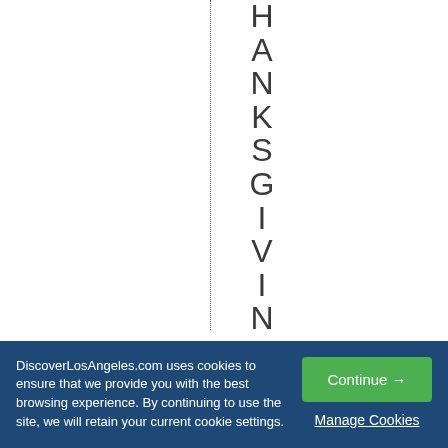THANKSGIVINGSPECIAL
DiscoverLosAngeles.com uses cookies to ensure that we provide you with the best browsing experience. By continuing to use the site, we will retain your current cookie settings.
Continue →
Manage Cookies